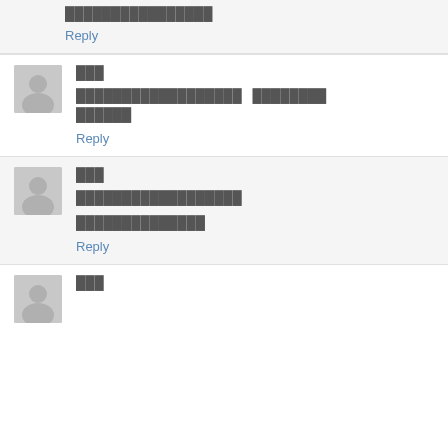████████████████
Reply
███
██████████████████   ████████ ██████
Reply
███
██████████████████
██████████████
Reply
███